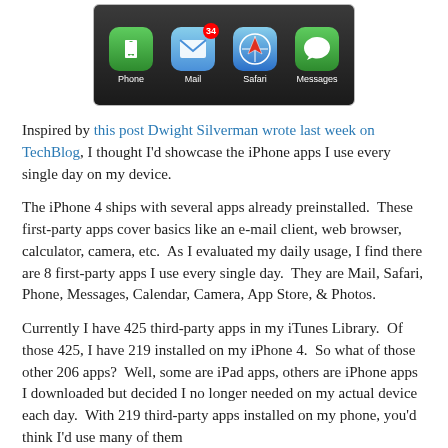[Figure (screenshot): iPhone home dock screenshot showing Phone, Mail (with badge 34), Safari, and Messages app icons on a dark background]
Inspired by this post Dwight Silverman wrote last week on TechBlog, I thought I'd showcase the iPhone apps I use every single day on my device.
The iPhone 4 ships with several apps already preinstalled.  These first-party apps cover basics like an e-mail client, web browser, calculator, camera, etc.  As I evaluated my daily usage, I find there are 8 first-party apps I use every single day.  They are Mail, Safari, Phone, Messages, Calendar, Camera, App Store, & Photos.
Currently I have 425 third-party apps in my iTunes Library.  Of those 425, I have 219 installed on my iPhone 4.  So what of those other 206 apps?  Well, some are iPad apps, others are iPhone apps I downloaded but decided I no longer needed on my actual device each day.  With 219 third-party apps installed on my phone, you'd think I'd use many of them